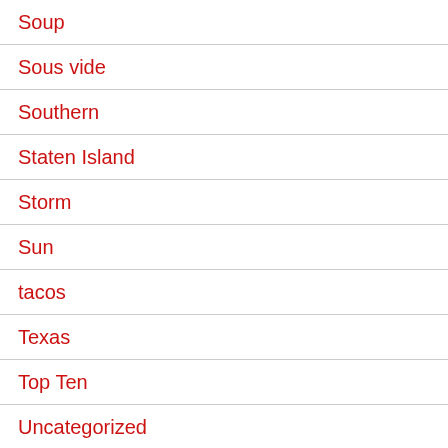Soup
Sous vide
Southern
Staten Island
Storm
Sun
tacos
Texas
Top Ten
Uncategorized